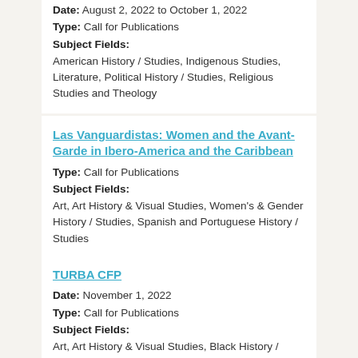Date: August 2, 2022 to October 1, 2022
Type: Call for Publications
Subject Fields:
American History / Studies, Indigenous Studies, Literature, Political History / Studies, Religious Studies and Theology
Las Vanguardistas: Women and the Avant-Garde in Ibero-America and the Caribbean
Type: Call for Publications
Subject Fields:
Art, Art History & Visual Studies, Women's & Gender History / Studies, Spanish and Portuguese History / Studies
TURBA CFP
Date: November 1, 2022
Type: Call for Publications
Subject Fields:
Art, Art History & Visual Studies, Black History / Studies, Colonial and Post-Colonial History / Studies, Immigration & Migration History / Studies, Theatre & Performance History / Studies